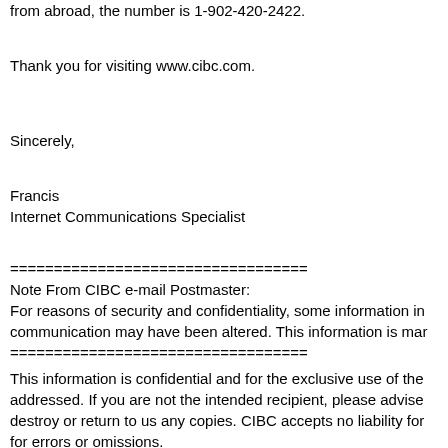representation Assistance is available 24 hours a day, 7 days a week. If calling from abroad, the number is 1-902-420-2422.
Thank you for visiting www.cibc.com.
Sincerely,
Francis
Internet Communications Specialist
==================================
Note From CIBC e-mail Postmaster:
For reasons of security and confidentiality, some information in this communication may have been altered. This information is mar
==================================
This information is confidential and for the exclusive use of the addressed. If you are not the intended recipient, please advise destroy or return to us any copies. CIBC accepts no liability for for errors or omissions.